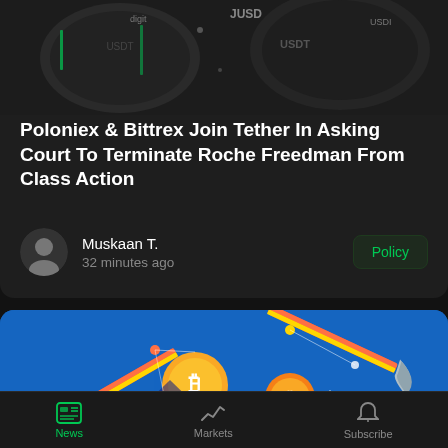[Figure (photo): Close-up of cryptocurrency coins (USDT/stablecoin) with green and silver metallic finish]
Poloniex & Bittrex Join Tether In Asking Court To Terminate Roche Freedman From Class Action
Muskaan T.
32 minutes ago
Policy
[Figure (illustration): Illustration of Bitcoin mining — two pickaxes with colorful handles swinging toward Bitcoin coins on a blue background with geometric shapes]
News   Markets   Subscribe